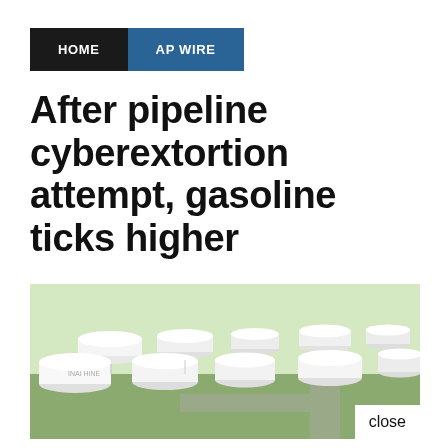HOME   AP WIRE
After pipeline cyberextortion attempt, gasoline ticks higher
[Figure (photo): Aerial view of multiple large white cylindrical storage tanks at a fuel/oil terminal facility, with green fields and roads visible in the background. A 'close' button is visible in the lower right corner of the image.]
[Figure (infographic): Green advertisement banner with a tree logo icon on the left and text reading 'Check out our Deposit Specials' in dark green bold text on a bright green background.]